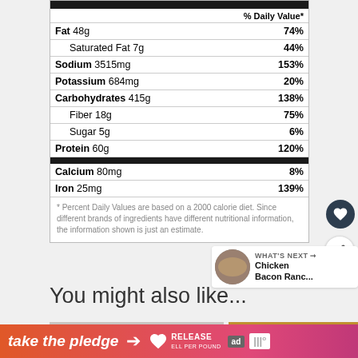| Nutrient | % Daily Value* |
| --- | --- |
| Fat 48g | 74% |
| Saturated Fat 7g | 44% |
| Sodium 3515mg | 153% |
| Potassium 684mg | 20% |
| Carbohydrates 415g | 138% |
| Fiber 18g | 75% |
| Sugar 5g | 6% |
| Protein 60g | 120% |
| Calcium 80mg | 8% |
| Iron 25mg | 139% |
* Percent Daily Values are based on a 2000 calorie diet. Since different brands of ingredients have different nutritional information, the information shown is just an estimate.
You might also like...